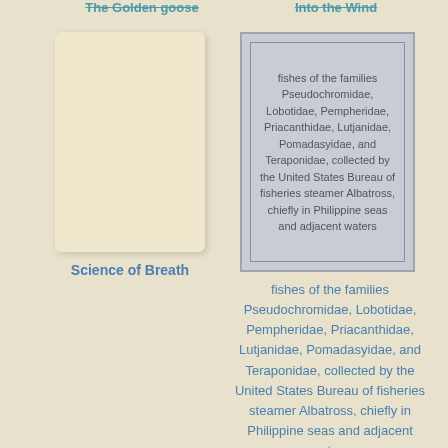The Golden goose
Into the Wind
[Figure (illustration): A blank book cover with cream/beige color and rounded corners]
[Figure (other): A grey card box with border containing text about fishes of the families Pseudochromidae, Lobotidae, Pempheridae, Priacanthidae, Lutjanidae, Pomadasyidae, and Teraponidae, collected by the United States Bureau of fisheries steamer Albatross, chiefly in Philippine seas and adjacent waters]
Science of Breath
fishes of the families Pseudochromidae, Lobotidae, Pempheridae, Priacanthidae, Lutjanidae, Pomadasyidae, and Teraponidae, collected by the United States Bureau of fisheries steamer Albatross, chiefly in Philippine seas and adjacent waters